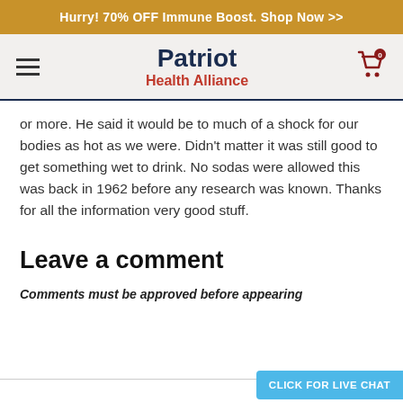Hurry! 70% OFF Immune Boost. Shop Now >>
Patriot Health Alliance
or more. He said it would be to much of a shock for our bodies as hot as we were. Didn’t matter it was still good to get something wet to drink. No sodas were allowed this was back in 1962 before any research was known. Thanks for all the information very good stuff.
Leave a comment
Comments must be approved before appearing